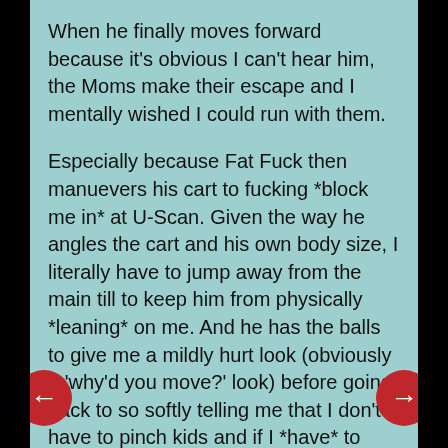When he finally moves forward because it's obvious I can't hear him, the Moms make their escape and I mentally wished I could run with them.
Especially because Fat Fuck then manuevers his cart to fucking *block me in* at U-Scan. Given the way he angles the cart and his own body size, I literally have to jump away from the main till to keep him from physically *leaning* on me. And he has the balls to give me a mildly hurt look (obviously a 'why'd you move?' look) before going back to so softly telling me that I don't have to pinch kids and if I *have* to pinch kids, then pinch *this* one (Tiny Toddler, sitting in the child seat of Fat Fuck's cart and being a surprisingly well-behaved and quiet kid given all the recent shouting) because Tiny